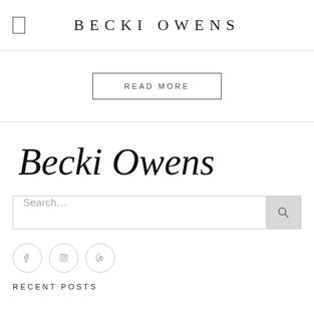BECKI OWENS
READ MORE
Becki Owens
Search…
[Figure (other): Three circular social media icon buttons (Facebook, Instagram, Pinterest) with light gray outlines]
RECENT POSTS